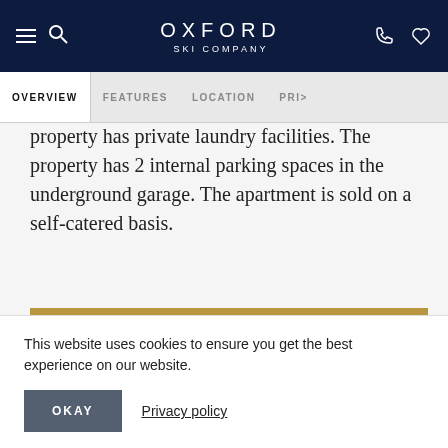OXFORD SKI COMPANY
OVERVIEW | FEATURES | LOCATION | PRI>
property has private laundry facilities. The property has 2 internal parking spaces in the underground garage. The apartment is sold on a self-catered basis.
MAKE AN ENQUIRY
DOWNLOAD FACTSHEET
This website uses cookies to ensure you get the best experience on our website.
OKAY
Privacy policy